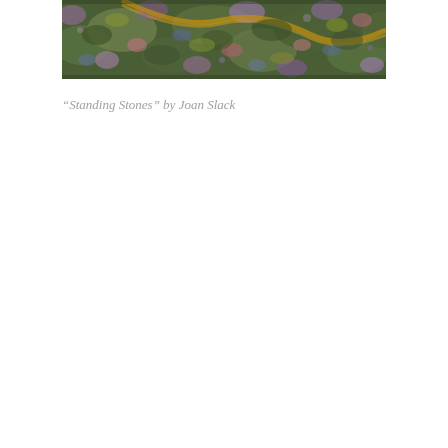[Figure (photo): A colorful painting showing mossy stones or rocks with green, purple, pink, blue, and gold/orange tones — an impressionistic close-up view of 'Standing Stones' by Joan Slack.]
“Standing Stones” by Joan Slack